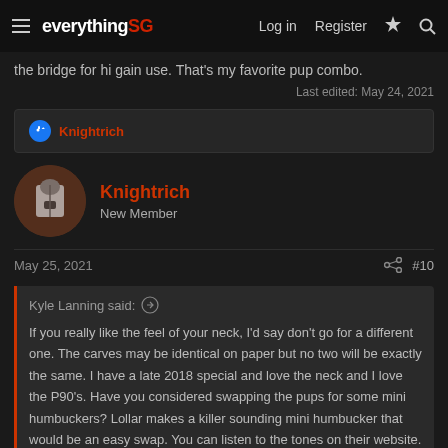everything SG | Log in | Register
the bridge for hi gain use. That's my favorite pup combo.
Last edited: May 24, 2021
Knightrich
Knightrich
New Member
May 25, 2021
#10
Kyle Lanning said:
If you really like the feel of your neck, I'd say don't go for a different one. The carves may be identical on paper but no two will be exactly the same. I have a late 2018 special and love the neck and I love the P90's. Have you considered swapping the pups for some mini humbuckers? Lollar makes a killer sounding mini humbucker that would be an easy swap. You can listen to the tones on their website. Take it from a guy who almost